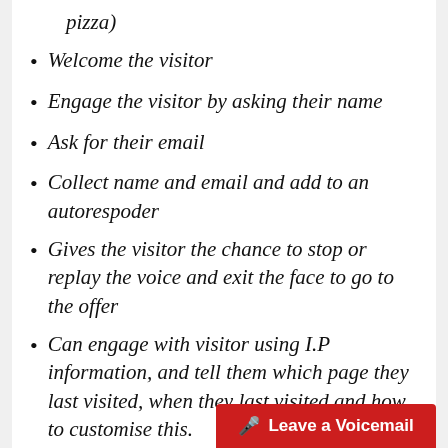pizza)
Welcome the visitor
Engage the visitor by asking their name
Ask for their email
Collect name and email and add to an autorespoder
Gives the visitor the chance to stop or replay the voice and exit the face to go to the offer
Can engage with visitor using I.P information, and tell them which page they last visited, when they last visited and how to customise this.
Leave a Voicemail